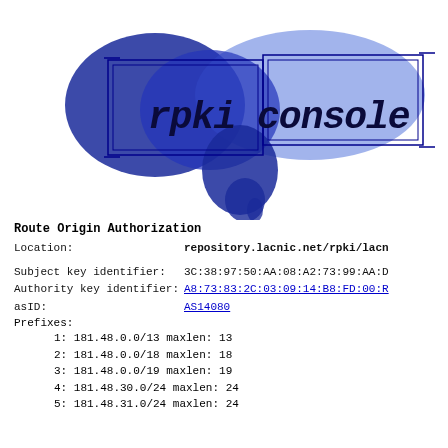[Figure (logo): rpki console logo with blue watercolor/ink splash background and dark blue handwritten-style text reading 'rpki console' with a rectangular border drawn in dark blue lines]
Route Origin Authorization
Location:    repository.lacnic.net/rpki/lacn
Subject key identifier:   3C:38:97:50:AA:08:A2:73:99:AA:D
Authority key identifier: A8:73:83:2C:03:09:14:B8:FD:00:R
asID:   AS14080
Prefixes:
1: 181.48.0.0/13 maxlen: 13
2: 181.48.0.0/18 maxlen: 18
3: 181.48.0.0/19 maxlen: 19
4: 181.48.30.0/24 maxlen: 24
5: 181.48.31.0/24 maxlen: 24